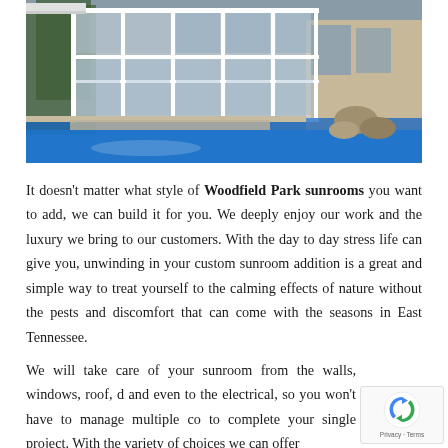[Figure (photo): Photograph of a white-framed sunroom/pool enclosure with large glass panels adjacent to a swimming pool with blue water, rocks and landscaping visible]
It doesn't matter what style of Woodfield Park sunrooms you want to add, we can build it for you. We deeply enjoy our work and the luxury we bring to our customers. With the day to day stress life can give you, unwinding in your custom sunroom addition is a great and simple way to treat yourself to the calming effects of nature without the pests and discomfort that can come with the seasons in East Tennessee.
We will take care of your sunroom from the walls, windows, roof, d and even to the electrical, so you won't have to manage multiple co to complete your single project. With the variety of choices we can offer